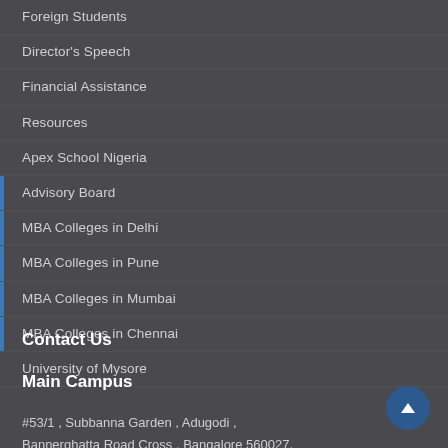Foreign Students
Director's Speech
Financial Assistance
Resources
Apex School Nigeria
Advisory Board
MBA Colleges in Delhi
MBA Colleges in Pune
MBA Colleges in Mumbai
MBA Colleges in Chennai
University of Mysore
Contact Us
Main Campus
#53/1 , Subbanna Garden , Adugodi ,
Bannerghatta Road Cross , Bangalore 560027,